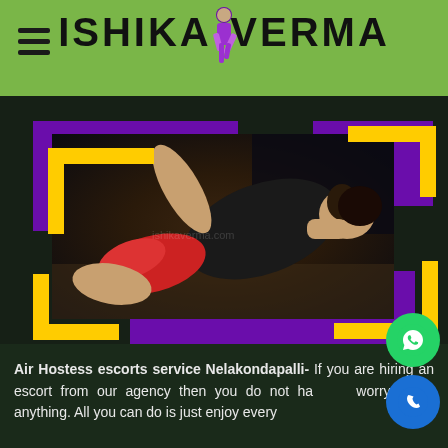ISHIKA VERMA
[Figure (photo): Woman reclining in black top and red shorts on a dark surface, with decorative purple and yellow frame elements]
Air Hostess escorts service Nelakondapalli- If you are hiring an escort from our agency then you do not have to worry about anything. All you can do is just enjoy every